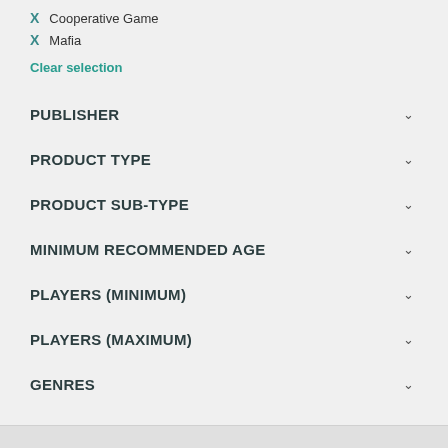X  Cooperative Game
X  Mafia
Clear selection
PUBLISHER
PRODUCT TYPE
PRODUCT SUB-TYPE
MINIMUM RECOMMENDED AGE
PLAYERS (MINIMUM)
PLAYERS (MAXIMUM)
GENRES